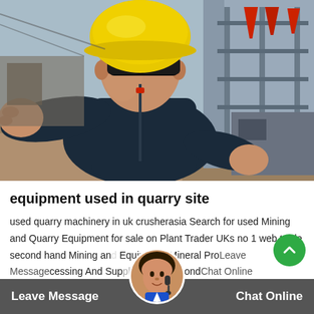[Figure (photo): A man wearing a yellow hard hat, dark sunglasses, and a navy jacket stands at a quarry or mining site, pointing toward the camera. Industrial equipment and machinery are visible in the background on the right side.]
equipment used in quarry site
used quarry machinery in uk crusherasia Search for used Mining and Quarry Equipment for sale on Plant Trader UKs no 1 web trade second hand Mining and Equipment Mineral Processing And Sup line second
Leave Message  Chat Online